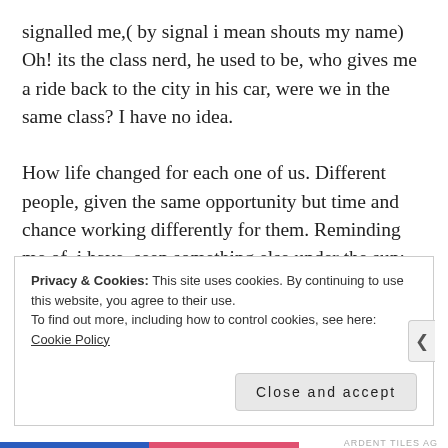signalled me,( by signal i mean shouts my name) Oh! its the class nerd, he used to be, who gives me a ride back to the city in his car, were we in the same class? I have no idea.

How life changed for each one of us. Different people, given the same opportunity but time and chance working differently for them. Reminding me of, i have  seen something else under the sun: The race is not to the swift or the battle to the strong, nor does food come to the wise or wealth to the brilliant or favor to the learned; but time
Privacy & Cookies: This site uses cookies. By continuing to use this website, you agree to their use.
To find out more, including how to control cookies, see here: Cookie Policy
Close and accept